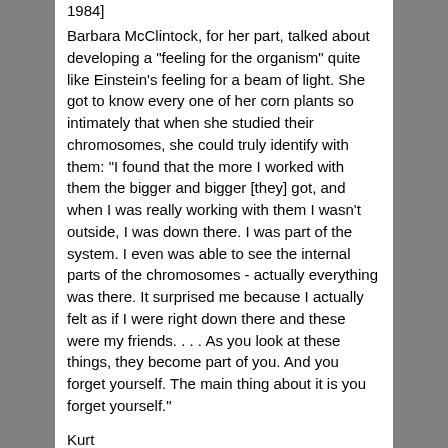1984]
Barbara McClintock, for her part, talked about developing a "feeling for the organism" quite like Einstein's feeling for a beam of light. She got to know every one of her corn plants so intimately that when she studied their chromosomes, she could truly identify with them: "I found that the more I worked with them the bigger and bigger [they] got, and when I was really working with them I wasn't outside, I was down there. I was part of the system. I even was able to see the internal parts of the chromosomes - actually everything was there. It surprised me because I actually felt as if I were right down there and these were my friends. . . . As you look at these things, they become part of you. And you forget yourself. The main thing about it is you forget yourself."
Kurt
Post Points: 20
Report abuse